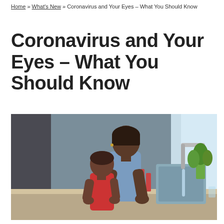Home » What's New » Coronavirus and Your Eyes – What You Should Know
Coronavirus and Your Eyes – What You Should Know
[Figure (photo): An adult woman helps a young child wash their hands at a kitchen sink. Water flows from the faucet over their hands. There are plants, bottles, and kitchen items visible in the background near a window.]